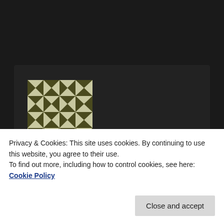[Figure (illustration): Quilt-pattern avatar image with olive green and white geometric triangles and squares]
Vitor Barbosa on July 20, 2019 at 4:06 pm said:
Hi, Dan!

I've made some modifications to my STM based on what you and John told me. Now it has a 3 fine screws support like yours to improve approaching, I've put the whole system in a steel box for
Privacy & Cookies: This site uses cookies. By continuing to use this website, you agree to their use.
To find out more, including how to control cookies, see here: Cookie Policy